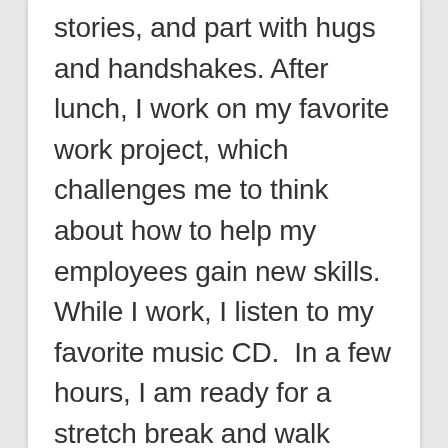stories, and part with hugs and handshakes. After lunch, I work on my favorite work project, which challenges me to think about how to help my employees gain new skills. While I work, I listen to my favorite music CD.  In a few hours, I am ready for a stretch break and walk outside to water the plants. After break, I return calls, talking with my clients and catching up on how to best serve them.  …"